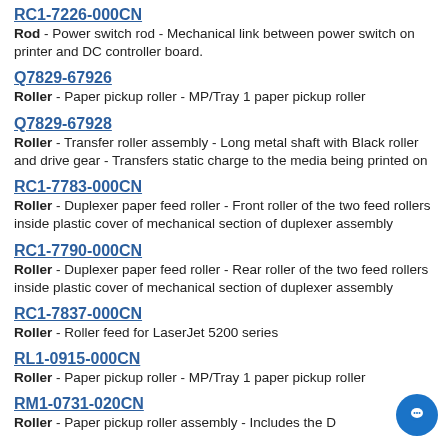RC1-7226-000CN
Rod - Power switch rod - Mechanical link between power switch on printer and DC controller board.
Q7829-67926
Roller - Paper pickup roller - MP/Tray 1 paper pickup roller
Q7829-67928
Roller - Transfer roller assembly - Long metal shaft with Black roller and drive gear - Transfers static charge to the media being printed on
RC1-7783-000CN
Roller - Duplexer paper feed roller - Front roller of the two feed rollers inside plastic cover of mechanical section of duplexer assembly
RC1-7790-000CN
Roller - Duplexer paper feed roller - Rear roller of the two feed rollers inside plastic cover of mechanical section of duplexer assembly
RC1-7837-000CN
Roller - Roller feed for LaserJet 5200 series
RL1-0915-000CN
Roller - Paper pickup roller - MP/Tray 1 paper pickup roller
RM1-0731-020CN
Roller - Paper pickup roller assembly - Includes the D